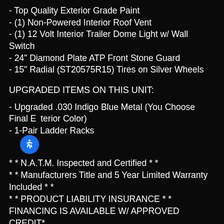- Top Quality Exterior Grade Paint
- (1) Non-Powered Interior Roof Vent
- (1) 12 Volt Interior Trailer Dome Light w/ Wall Switch
- 24" Diamond Plate ATP Front Stone Guard
- 15" Radial (ST20575R15) Tires on Silver Wheels
UPGRADED ITEMS ON THIS UNIT:
- Upgraded .030 Indigo Blue Metal (You Choose Final Exterior Color)
- 1-Pair Ladder Racks
* * N.A.T.M. Inspected and Certified * *
* * Manufacturers Title and 5 Year Limited Warranty Included * *
* * PRODUCT LIABILITY INSURANCE * *
FINANCING IS AVAILABLE W/ APPROVED CREDIT*